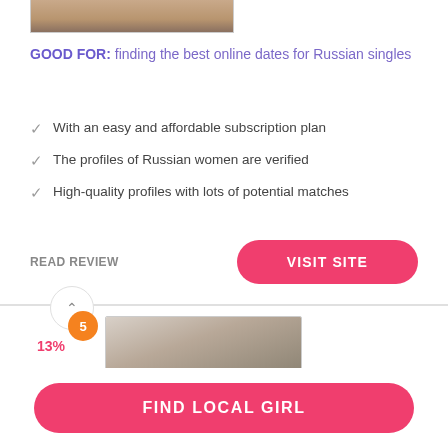[Figure (photo): Partial photo of a woman at top of card]
GOOD FOR: finding the best online dates for Russian singles
With an easy and affordable subscription plan
The profiles of Russian women are verified
High-quality profiles with lots of potential matches
READ REVIEW
VISIT SITE
13%
[Figure (photo): Photo of a young man with dark hair lying down]
FIND LOCAL GIRL